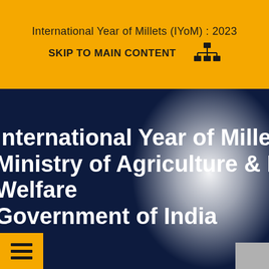International Year of Millets (IYoM) : 2023
SKIP TO MAIN CONTENT
International Year of Millets : 2023
Ministry of Agriculture & Farmers Welfare
Government of India